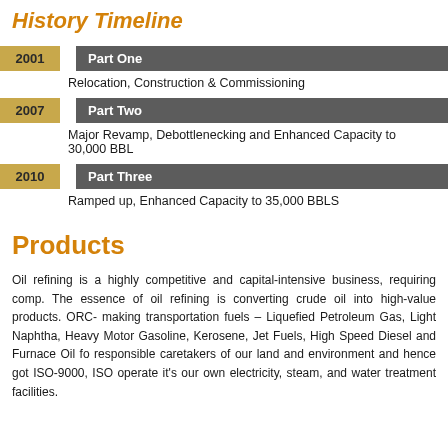History Timeline
2001 | Part One | Relocation, Construction & Commissioning
2007 | Part Two | Major Revamp, Debottlenecking and Enhanced Capacity to 30,000 BBLS
2010 | Part Three | Ramped up, Enhanced Capacity to 35,000 BBLS
Products
Oil refining is a highly competitive and capital-intensive business, requiring comp. The essence of oil refining is converting crude oil into high-value products. ORC- making transportation fuels – Liquefied Petroleum Gas, Light Naphtha, Heavy Motor Gasoline, Kerosene, Jet Fuels, High Speed Diesel and Furnace Oil fo responsible caretakers of our land and environment and hence got ISO-9000, ISO operate it's our own electricity, steam, and water treatment facilities.